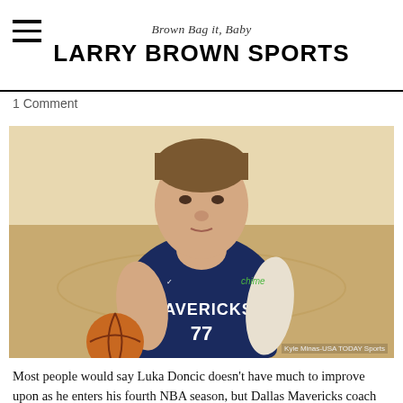Brown Bag it, Baby
LARRY BROWN SPORTS
1 Comment
[Figure (photo): Luka Doncic (#77) of the Dallas Mavericks in his navy blue Mavericks jersey with chime sponsor logo, holding a basketball, with a Jordan brand logo on jersey. Photo credit: Kyle Minas-USA TODAY Sports]
Most people would say Luka Doncic doesn't have much to improve upon as he enters his fourth NBA season, but Dallas Mavericks coach